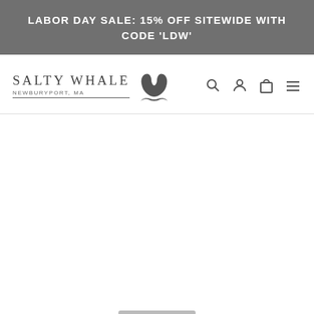LABOR DAY SALE: 15% OFF SITEWIDE WITH CODE 'LDW'
[Figure (logo): Salty Whale Newburyport, MA logo with whale tail icon and navigation icons (search, account, cart, menu)]